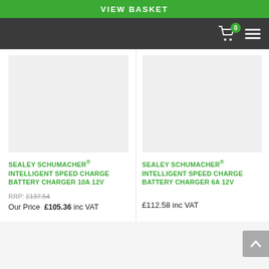VIEW BASKET
[Figure (screenshot): Navigation bar with shopping cart icon (0 items) and hamburger menu on dark background]
[Figure (photo): Product image area for Sealey Schumacher Intelligent Speed Charge Battery Charger 10A 12V (blank/white product image area)]
SEALEY SCHUMACHER® INTELLIGENT SPEED CHARGE BATTERY CHARGER 10A 12V
RRP: £137.54
Our Price £105.36 inc VAT
[Figure (photo): Product image area for Sealey Schumacher Intelligent Speed Charge Battery Charger 6A 12V (blank/white product image area)]
SEALEY SCHUMACHER® INTELLIGENT SPEED CHARGE BATTERY CHARGER 6A 12V
£112.58 inc VAT